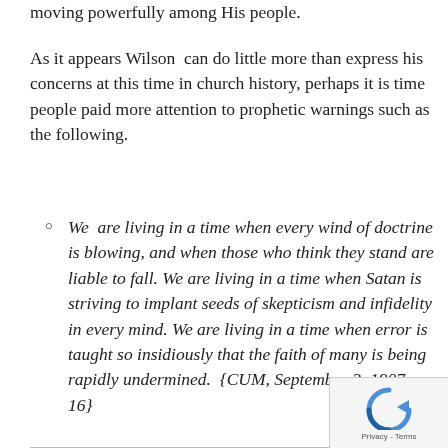moving powerfully among His people.
As it appears Wilson can do little more than express his concerns at this time in church history, perhaps it is time people paid more attention to prophetic warnings such as the following.
We are living in a time when every wind of doctrine is blowing, and when those who think they stand are liable to fall. We are living in a time when Satan is striving to implant seeds of skepticism and infidelity in every mind. We are living in a time when error is taught so insidiously that the faith of many is being rapidly undermined. {CUM, September 3, 1907 par. 16}